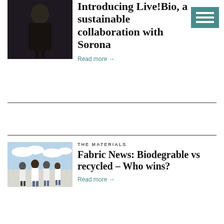[Figure (photo): Woman in black outfit posing, back view, dark background]
Introducing Live!Bio, a sustainable collaboration with Sorona
Read more →
[Figure (photo): Group of people walking outdoors, wearing white tops and jeans, cloudy sky]
THE MATERIALS
Fabric News: Biodegrable vs recycled - Who wins?
Read more →